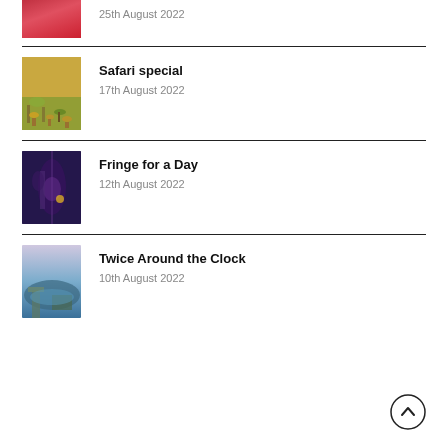[Figure (photo): Partial image of person in red clothing, cropped at top]
25th August 2022
[Figure (photo): Safari scene with zebras and a monkey on dry grassland]
Safari special
17th August 2022
[Figure (photo): Performer on stage with a harp, dressed in purple, dark background]
Fringe for a Day
12th August 2022
[Figure (photo): Aerial view of a city with a river and castle at dusk]
Twice Around the Clock
10th August 2022